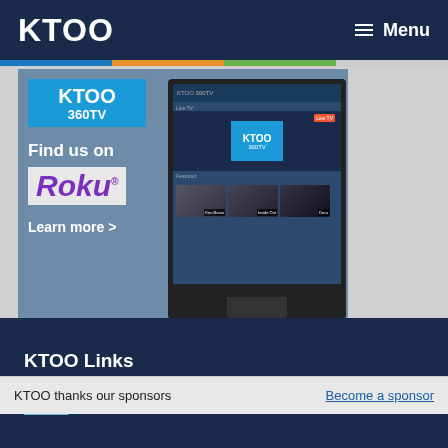KTOO   ☰ Menu
[Figure (screenshot): KTOO 360TV promotional banner showing 'Find us on Roku' with a TV screen displaying the KTOO 360TV Roku channel interface with thumbnails]
KTOO thanks our sponsors
Become a sponsor
KTOO Links
About